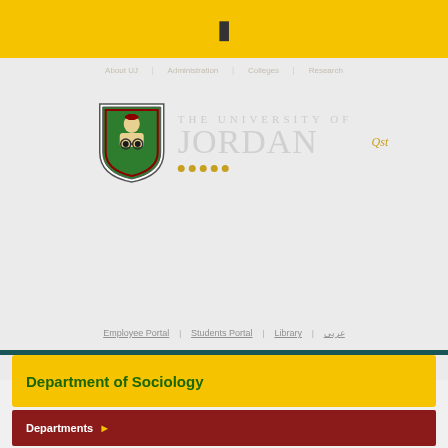[Figure (screenshot): University of Jordan website screenshot showing yellow top navigation bar with hamburger icon, light gray background with University of Jordan logo (green shield crest and text), bottom navigation links, and Department of Sociology heading in yellow box]
Department of Sociology
Departments